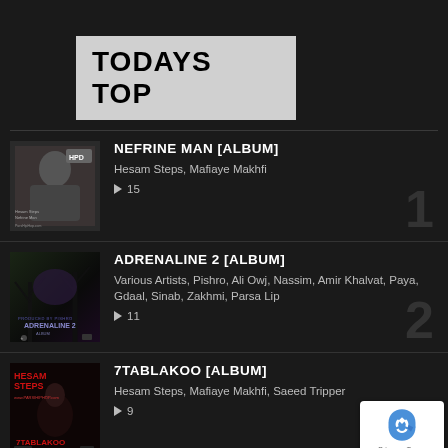TODAYS TOP
[Figure (other): Music streaming app screenshot showing top albums list. Item 1: NEFRINE MAN [ALBUM] by Hesam Steps, Mafiaye Makhfi, 15 plays, rank 1. Item 2: ADRENALINE 2 [ALBUM] by Various Artists, Pishro, Ali Owj, Nassim, Amir Khalvat, Paya, Gdaal, Sinab, Zakhmi, Parsa Lip, 11 plays, rank 2. Item 3: 7TABLAKOO [ALBUM] by Hesam Steps, Mafiaye Makhfi, Saeed Tripper, 9 plays, rank 3. Item 4 (partial): SHAHRVAND [ALBUM].]
NEFRINE MAN [ALBUM] - Hesam Steps, Mafiaye Makhfi - 15 plays - Rank 1
ADRENALINE 2 [ALBUM] - Various Artists, Pishro, Ali Owj, Nassim, Amir Khalvat, Paya, Gdaal, Sinab, Zakhmi, Parsa Lip - 11 plays - Rank 2
7TABLAKOO [ALBUM] - Hesam Steps, Mafiaye Makhfi, Saeed Tripper - 9 plays - Rank 3
SHAHRVAND [ALBUM]